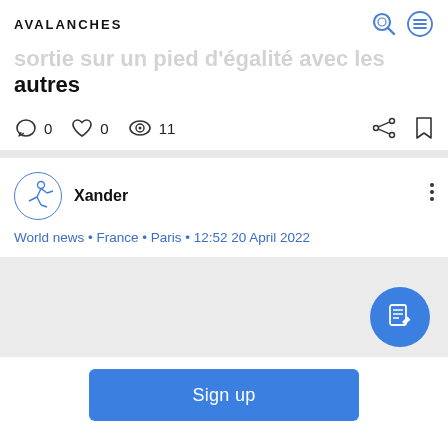AVALANCHES
sortie sur un pied d'égalité avec les autres
0  0  11
Xander
World news • France • Paris • 12:52 20 April 2022
[Figure (screenshot): Blue circular edit/compose FAB button]
Sign up